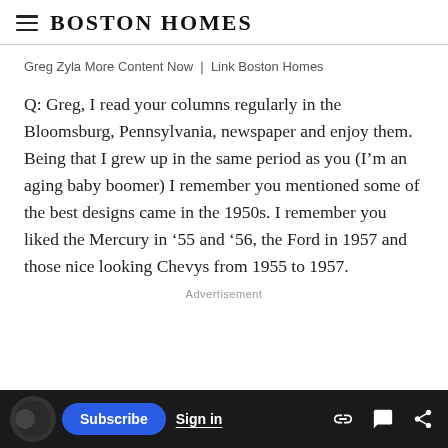Boston Homes
Greg Zyla More Content Now | Link Boston Homes
Q: Greg, I read your columns regularly in the Bloomsburg, Pennsylvania, newspaper and enjoy them. Being that I grew up in the same period as you (I'm an aging baby boomer) I remember you mentioned some of the best designs came in the 1950s. I remember you liked the Mercury in ’55 and ’56, the Ford in 1957 and those nice looking Chevys from 1955 to 1957.
Advertisement